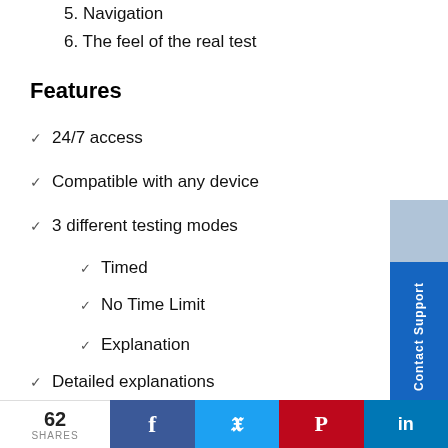5. Navigation
6. The feel of the real test
Features
24/7 access
Compatible with any device
3 different testing modes
Timed
No Time Limit
Explanation
Detailed explanations
We offer 20 online practice exams with 2,600 unique
62 SHARES